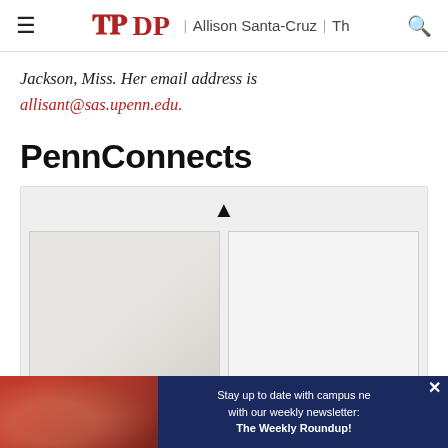DP | Allison Santa-Cruz | Th
Jackson, Miss. Her email address is allisant@sas.upenn.edu.
PennConnects
[Figure (screenshot): PennConnects widget with upward chevron and two image placeholder boxes side by side on a light gray background]
[Figure (photo): Bottom advertisement bar with photo of people in red shirts cheering at a Penn event on the left, and a dark blue box on the right reading 'Stay up to date with campus news with our weekly newsletter: The Weekly Roundup!']